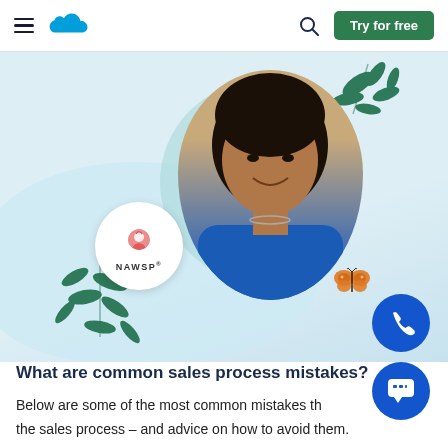Salesforce navigation bar with hamburger menu, Salesforce cloud logo, search icon, and Try for free button
[Figure (photo): Hero image showing a woman in a blue dress smiling, with a NAWSP logo badge, decorative teal leaves, a butterfly, and teal circular background element on a light blue background. Phone and chat icon circles are also visible.]
What are common sales process mistakes?
Below are some of the most common mistakes that salespeople make in the sales process – and advice on how to avoid them.